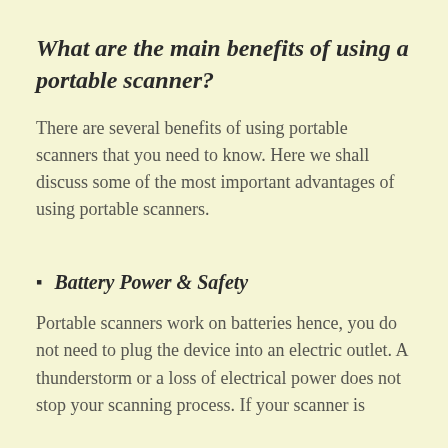What are the main benefits of using a portable scanner?
There are several benefits of using portable scanners that you need to know. Here we shall discuss some of the most important advantages of using portable scanners.
Battery Power & Safety
Portable scanners work on batteries hence, you do not need to plug the device into an electric outlet. A thunderstorm or a loss of electrical power does not stop your scanning process. If your scanner is